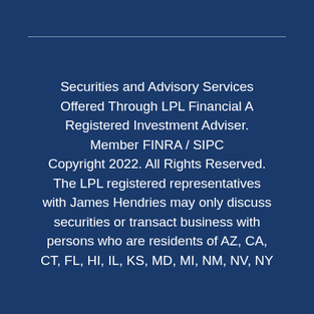Securities and Advisory Services Offered Through LPL Financial A Registered Investment Adviser. Member FINRA / SIPC Copyright 2022. All Rights Reserved. The LPL registered representatives with James Hendries may only discuss securities or transact business with persons who are residents of AZ, CA, CT, FL, HI, IL, KS, MD, MI, NM, NV, NY